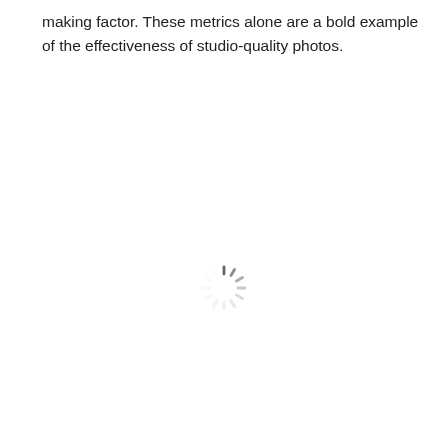making factor. These metrics alone are a bold example of the effectiveness of studio-quality photos.
[Figure (other): A loading spinner icon (circular dashed spinner) centered in the lower half of the page]